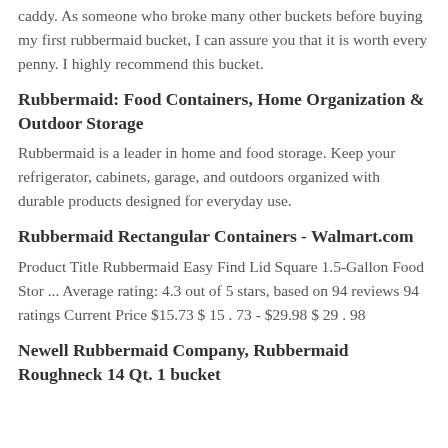caddy. As someone who broke many other buckets before buying my first rubbermaid bucket, I can assure you that it is worth every penny. I highly recommend this bucket.
Rubbermaid: Food Containers, Home Organization & Outdoor Storage
Rubbermaid is a leader in home and food storage. Keep your refrigerator, cabinets, garage, and outdoors organized with durable products designed for everyday use.
Rubbermaid Rectangular Containers - Walmart.com
Product Title Rubbermaid Easy Find Lid Square 1.5-Gallon Food Stor ... Average rating: 4.3 out of 5 stars, based on 94 reviews 94 ratings Current Price $15.73 $ 15 . 73 - $29.98 $ 29 . 98
Newell Rubbermaid Company, Rubbermaid Roughneck 14 Qt. 1 bucket